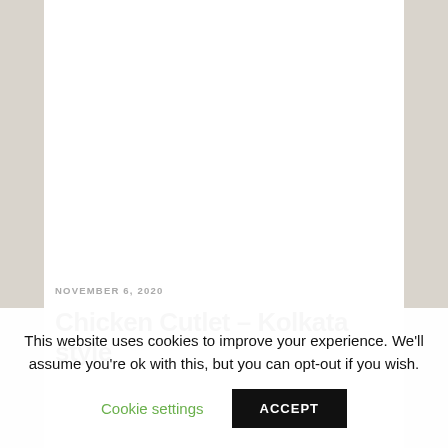[Figure (photo): Large white/blank image area at the top of a food blog article page]
NOVEMBER 6, 2020
Chicken Cutlet – Kolkata style
This website uses cookies to improve your experience. We'll assume you're ok with this, but you can opt-out if you wish.
Cookie settings   ACCEPT